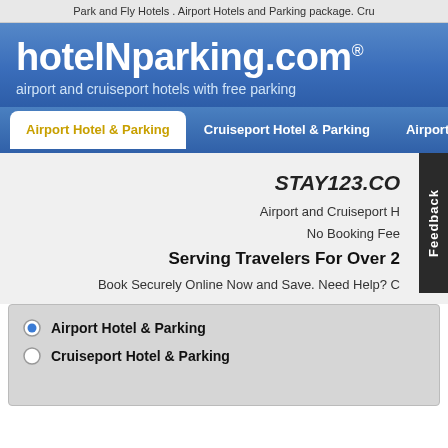Park and Fly Hotels . Airport Hotels and Parking package. Cru
[Figure (screenshot): hotelnparking.com website logo and header with blue gradient background. Logo reads 'hotelNparking.com®' with tagline 'airport and cruiseport hotels with free parking']
Airport Hotel & Parking | Cruiseport Hotel & Parking | Airport Hotel Roo
STAY123.CO
Airport and Cruiseport H
No Booking Fee
Serving Travelers For Over 2
Book Securely Online Now and Save. Need Help? C
Airport Hotel & Parking
Cruiseport Hotel & Parking